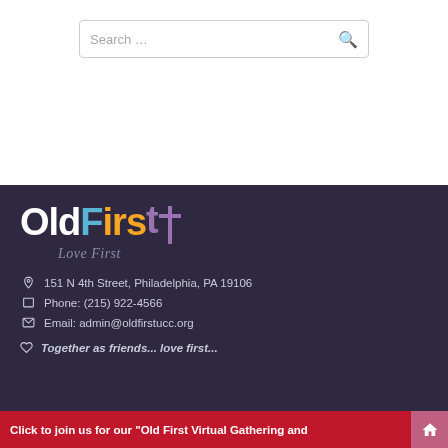[Figure (screenshot): Search bar with placeholder text 'Search ...' and a magnifying glass icon on the right]
[Figure (logo): Old First church logo with colorful lettering 'OldFirst' and tagline 'Love First' below]
151 N 4th Street, Philadelphia, PA 19106
Phone: (215) 922-4566
Email: admin@oldfirstucc.org
Together as friends... love first...
Click to join us for our "Old First Virtual Gathering and